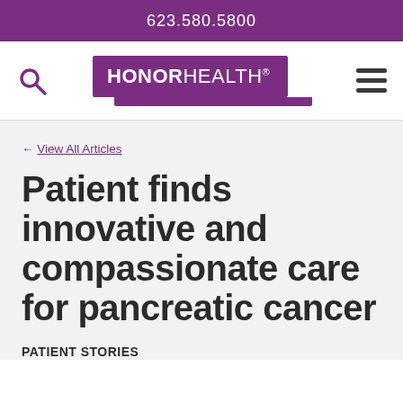623.580.5800
[Figure (logo): HonorHealth logo — white text on purple rectangle background with search icon on left and hamburger menu on right]
← View All Articles
Patient finds innovative and compassionate care for pancreatic cancer
PATIENT STORIES